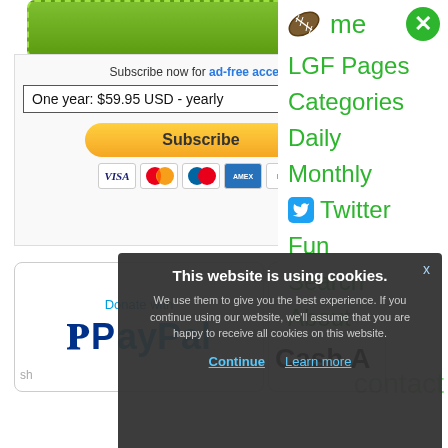[Figure (screenshot): Green button at top of page]
Subscribe now for ad-free access
One year: $59.95 USD - yearly
[Figure (screenshot): Subscribe button with payment card icons (Visa, Mastercard, Maestro, Amex, Discover)]
[Figure (logo): Donate with PayPal logo button]
[Figure (logo): Cash App icon and text (partially visible)]
me
LGF Pages
Categories
Daily
Monthly
Twitter
Fun
Search
About
This website is using cookies.
We use them to give you the best experience. If you continue using our website, we'll assume that you are happy to receive all cookies on this website.
Continue
Learn more